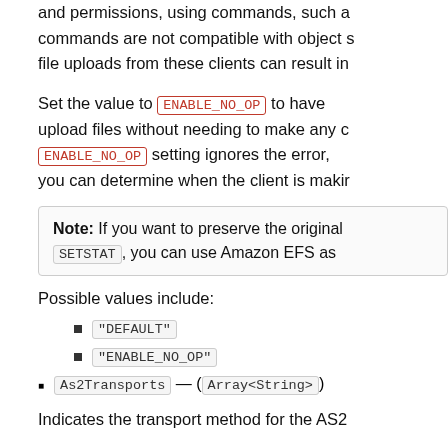and permissions, using commands, such a commands are not compatible with object s file uploads from these clients can result in
Set the value to ENABLE_NO_OP to have upload files without needing to make any c ENABLE_NO_OP setting ignores the error, you can determine when the client is makir
Note: If you want to preserve the original SETSTAT, you can use Amazon EFS as
Possible values include:
"DEFAULT"
"ENABLE_NO_OP"
As2Transports — (Array<String>)
Indicates the transport method for the AS2